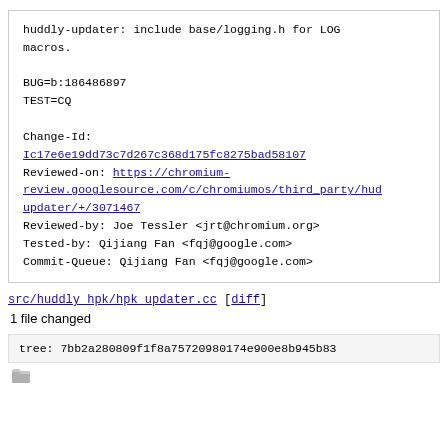huddly-updater: include base/logging.h for LOG macros.

BUG=b:186486897
TEST=CQ

Change-Id:
Ic17e6e19dd73c7d267c368d175fc8275bad58107
Reviewed-on: https://chromium-review.googlesource.com/c/chromiumos/third_party/hud updater/+/3071467
Reviewed-by: Joe Tessler <jrt@chromium.org>
Tested-by: Qijiang Fan <fqj@google.com>
Commit-Queue: Qijiang Fan <fqj@google.com>
src/huddly hpk/hpk updater.cc [diff]
1 file changed
tree: 7bb2a280809f1f8a75720980174e900e8b945b83